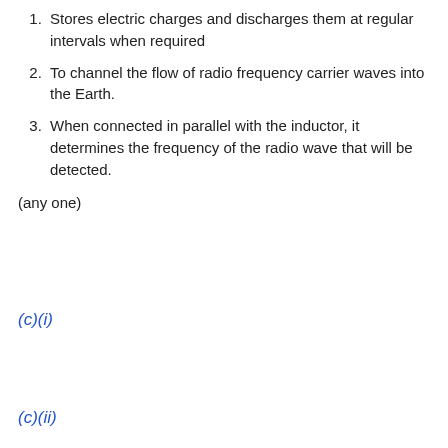1. Stores electric charges and discharges them at regular intervals when required
2. To channel the flow of radio frequency carrier waves into the Earth.
3. When connected in parallel with the inductor, it determines the frequency of the radio wave that will be detected.
(any one)
(c)(i)
(c)(ii)